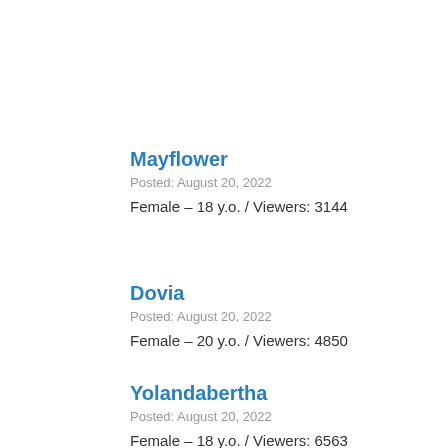Mayflower
Posted: August 20, 2022
Female – 18 y.o. / Viewers: 3144
Dovia
Posted: August 20, 2022
Female – 20 y.o. / Viewers: 4850
Yolandabertha
Posted: August 20, 2022
Female – 18 y.o. / Viewers: 6563